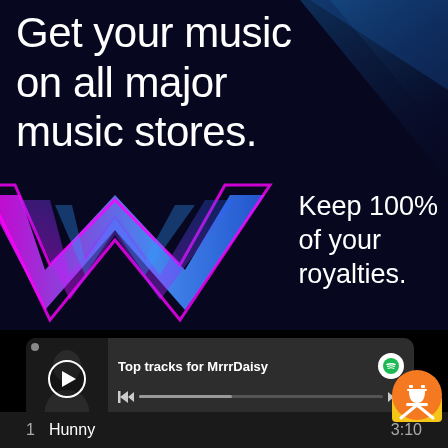[Figure (infographic): Advertisement with dark blue/navy background with diagonal blue light streaks on the right side, a large magenta/cyan zigzag W logo shape at the bottom left, and white text overlay]
Get your music on all major music stores.
Keep 100% of your royalties.
[Figure (screenshot): Spotify-style player card showing 'Top tracks for MrrrDaisy' with a play button, progress bar with skip controls, Spotify logo icon, and an orange coffee cup button overlay]
Top tracks for MrrrDaisy
1   Hunny   3:10